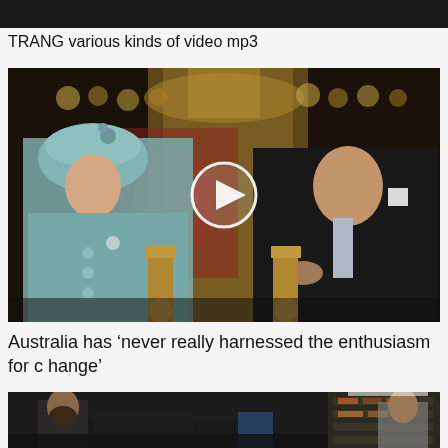[Figure (photo): Black bar at top of page, partial image cropped]
TRANG various kinds of video mp3
[Figure (photo): Photo of Queen Elizabeth II seated on the left wearing a teal/mint suit and matching hat, and Prince Charles seated on the right in a black suit, in an ornate golden chamber. A white circular play button overlay is centered on the image.]
Australia has ‘never really harnessed the enthusiasm for change’
[Figure (photo): Partial photo of what appears to be a workshop or garage with people working, dark interior with shelving visible in background.]